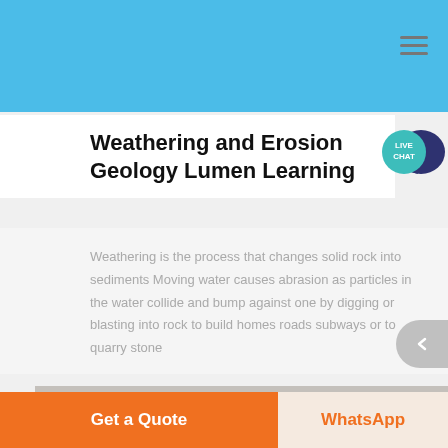Weathering and Erosion Geology Lumen Learning
Weathering is the process that changes solid rock into sediments Moving water causes abrasion as particles in the water collide and bump against one by digging or blasting into rock to build homes roads subways or to quarry stone
read more
[Figure (photo): Partial view of a rock/stone photo at the bottom of the page]
Get a Quote
WhatsApp